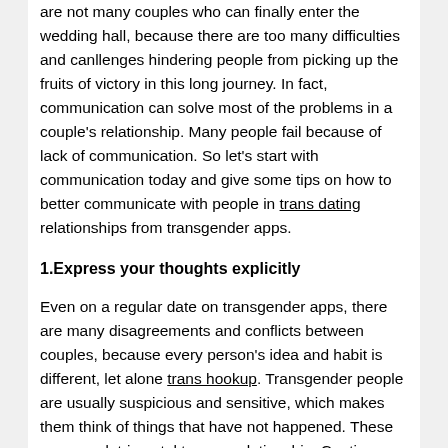are not many couples who can finally enter the wedding hall, because there are too many difficulties and canllenges hindering people from picking up the fruits of victory in this long journey. In fact, communication can solve most of the problems in a couple's relationship. Many people fail because of lack of communication. So let's start with communication today and give some tips on how to better communicate with people in trans dating relationships from transgender apps.
1.Express your thoughts explicitly
Even on a regular date on transgender apps, there are many disagreements and conflicts between couples, because every person's idea and habit is different, let alone trans hookup. Transgender people are usually suspicious and sensitive, which makes them think of things that have not happened. These are very detrimental to your relationship. Continuous suspicion can cause a rift in your relationship. At this time, communication becomes particularly important. First of all, if you have some questions of your own, you should dare to ask them. As long as these